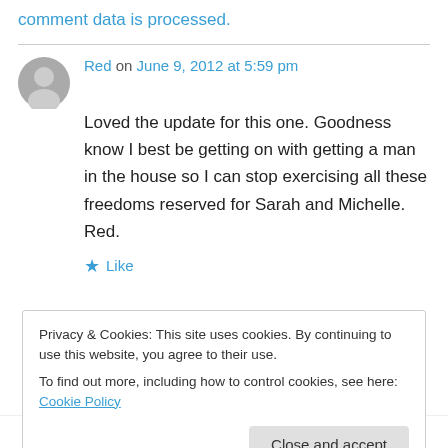comment data is processed.
Red on June 9, 2012 at 5:59 pm
Loved the update for this one. Goodness know I best be getting on with getting a man in the house so I can stop exercising all these freedoms reserved for Sarah and Michelle. Red.
★ Like
Privacy & Cookies: This site uses cookies. By continuing to use this website, you agree to their use. To find out more, including how to control cookies, see here: Cookie Policy
Close and accept
'Educated Version', Redefined after certain